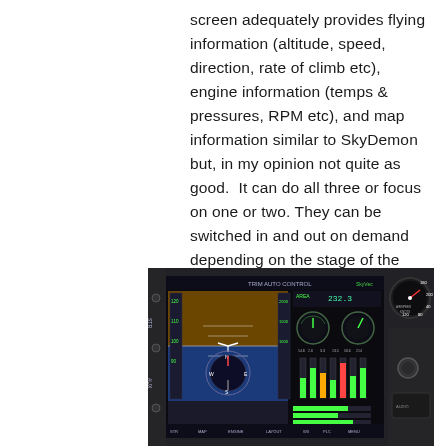screen adequately provides flying information (altitude, speed, direction, rate of climb etc), engine information (temps & pressures, RPM etc), and map information similar to SkyDemon but, in my opinion not quite as good.  It can do all three or focus on one or two. They can be switched in and out on demand depending on the stage of the flight. They are all configurable and there's a host of extras.
[Figure (photo): Photo of an aircraft cockpit instrument panel showing a multifunction display (MFD/glass cockpit screen) with flight information including attitude indicator, map, engine gauges (RPM, temperatures, pressures), digital readouts, and a circular airspeed/RPM gauge to the right.]